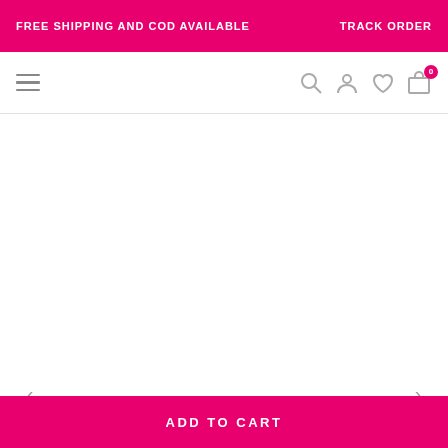FREE SHIPPING AND COD AVAILABLE    TRACK ORDER
[Figure (screenshot): E-commerce website navigation bar with hamburger menu icon on the left and search, account, wishlist, and cart icons (with badge showing 0) on the right]
[Figure (photo): Empty white product image display area with left and right navigation arrows]
ADD TO CART